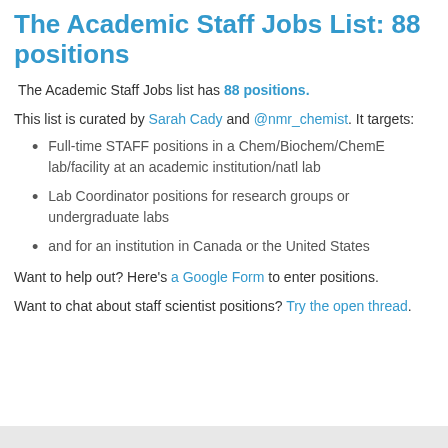The Academic Staff Jobs List: 88 positions
The Academic Staff Jobs list has 88 positions.
This list is curated by Sarah Cady and @nmr_chemist. It targets:
Full-time STAFF positions in a Chem/Biochem/ChemE lab/facility at an academic institution/natl lab
Lab Coordinator positions for research groups or undergraduate labs
and for an institution in Canada or the United States
Want to help out? Here's a Google Form to enter positions.
Want to chat about staff scientist positions? Try the open thread.